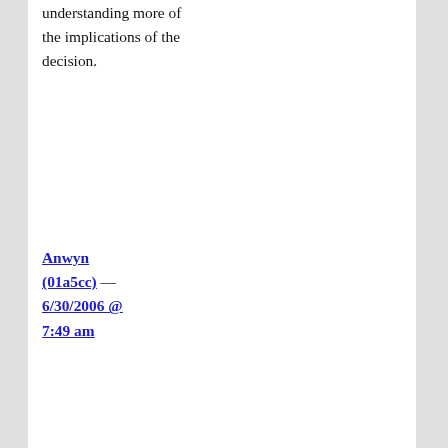understanding more of the implications of the decision.
Anwyn (01a5cc) — 6/30/2006 @ 7:49 am
7. Patterico, as far as I could tell, it makes no such claim.

The claim is that the conflict with al Qaeda is not an international conflict, because it is
not an international conflict, because it is a non-state conflict.